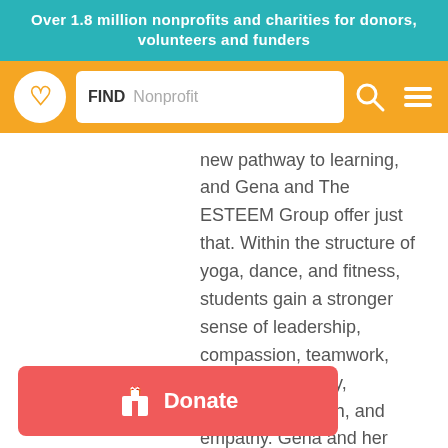Over 1.8 million nonprofits and charities for donors, volunteers and funders
[Figure (screenshot): Orange navigation bar with circular logo containing a heart icon, a search box with FIND Nonprofit placeholder, a search icon, and a hamburger menu icon]
new pathway to learning, and Gena and The ESTEEM Group offer just that. Within the structure of yoga, dance, and fitness, students gain a stronger sense of leadership, compassion, teamwork, confidence, agility, creativity, strength, and empathy. Gena and her team work extremely hard to adapt to each student, while still challenging them to push themselves to new limits. I am excited to see what is next for this company, and I'm so thankful to be a part of the team.
[Figure (screenshot): Red Donate button with gift box icon and white Donate text]